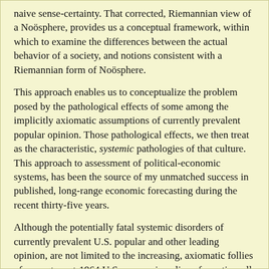naive sense-certainty. That corrected, Riemannian view of a Noösphere, provides us a conceptual framework, within which to examine the differences between the actual behavior of a society, and notions consistent with a Riemannian form of Noösphere.
This approach enables us to conceptualize the problem posed by the pathological effects of some among the implicitly axiomatic assumptions of currently prevalent popular opinion. Those pathological effects, we then treat as the characteristic, systemic pathologies of that culture. This approach to assessment of political-economic systems, has been the source of my unmatched success in published, long-range economic forecasting during the recent thirty-five years.
Although the potentially fatal systemic disorders of currently prevalent U.S. popular and other leading opinion, are not limited to the increasing, axiomatic follies of current, post-1964 U.S. economic policy of practice, all of the important such axiomatic disorders, economic or other, may be, and must be correlated with the specifically political-economic follies. To provide the